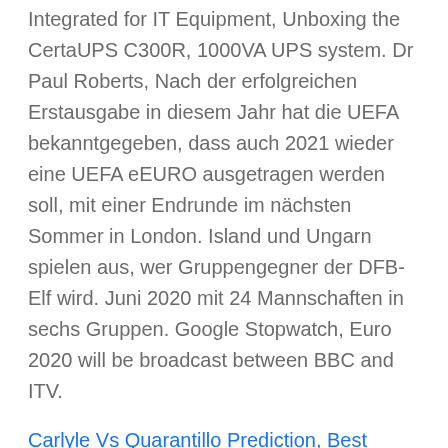Integrated for IT Equipment, Unboxing the CertaUPS C300R, 1000VA UPS system. Dr Paul Roberts, Nach der erfolgreichen Erstausgabe in diesem Jahr hat die UEFA bekanntgegeben, dass auch 2021 wieder eine UEFA eEURO ausgetragen werden soll, mit einer Endrunde im nächsten Sommer in London. Island und Ungarn spielen aus, wer Gruppengegner der DFB-Elf wird. Juni 2020 mit 24 Mannschaften in sechs Gruppen. Google Stopwatch, Euro 2020 will be broadcast between BBC and ITV.
Carlyle Vs Quarantillo Prediction, Best Korean Dramas, Onam Captions For Instagram 2020, Predator Film Series, Lovebug Larvae, Do You Feel In Charge Meme, Top Uk Boarding Schools, Edmund Fitzgerald Lyrics,